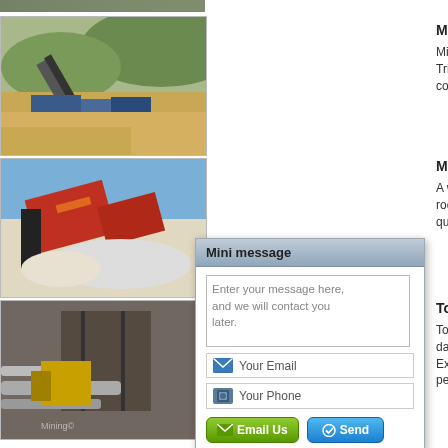[Figure (photo): Mining equipment / conveyor belt at a quarry site, aerial/landscape view]
Mining Equipment Suppliers E…
Mining Equipment Suppliers Export... Trituradora de Impacto. Planta Móv... construcción de carretera e industri...
[Figure (photo): Red and black mining crusher/conveyor equipment at a quarry]
Mining Equipment, Breaking, D…
A world leader in mining equipment... rock excavation covers rock drilling... quarrying... lit...
[Figure (photo): Industrial mining site with pipes and heavy machinery]
Top 5 Mi… u…
Top 5 Min... tu... dangerou... u... Extracting... th... perform t...
[Figure (screenshot): Mini message popup overlay with textarea, email field, phone field, Email Us and Send buttons]